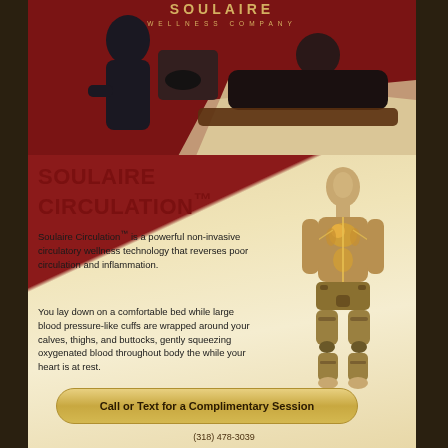[Figure (photo): Two people in a clinical setting, one patient lying on a treatment bed with compression cuffs on legs, one practitioner nearby. Background is dark red/maroon. Soulaire Wellness Company logo at top.]
SOULAIRE CIRCULATION™
Soulaire Circulation™ is a powerful non-invasive circulatory wellness technology that reverses poor circulation and inflammation.
You lay down on a comfortable bed while large blood pressure-like cuffs are wrapped around your calves, thighs, and buttocks, gently squeezing oxygenated blood throughout body the while your heart is at rest.
[Figure (illustration): 3D illustration of a human body showing circulatory system highlighted in golden/amber color, with mechanical compression cuffs on lower body.]
Call or Text for a Complimentary Session
(318) 478-3039